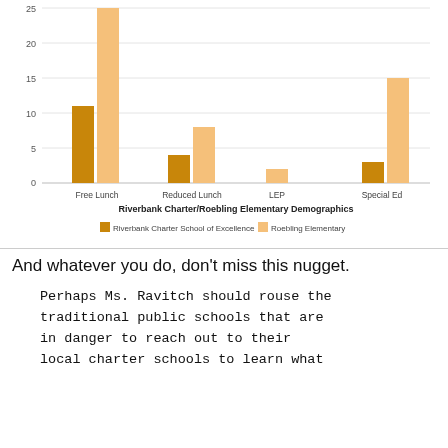[Figure (grouped-bar-chart): Riverbank Charter/Roebling Elementary Demographics]
And whatever you do, don't miss this nugget.
Perhaps Ms. Ravitch should rouse the traditional public schools that are in danger to reach out to their local charter schools to learn what